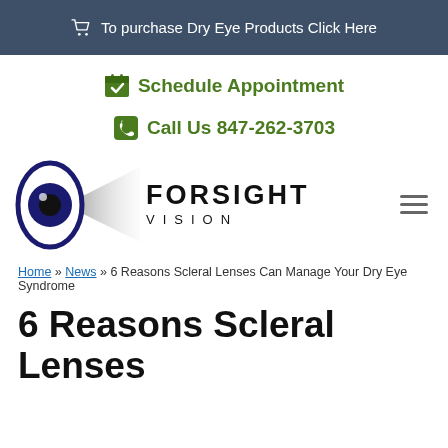To purchase Dry Eye Products Click Here
Schedule Appointment
Call Us 847-262-3703
[Figure (logo): Forsight Vision logo with eye illustration]
Home » News » 6 Reasons Scleral Lenses Can Manage Your Dry Eye Syndrome
6 Reasons Scleral Lenses